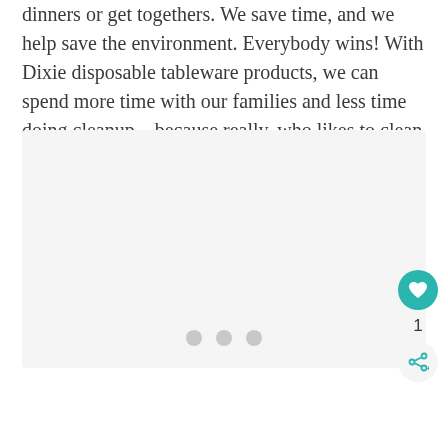dinners or get togethers. We save time, and we help save the environment. Everybody wins! With Dixie disposable tableware products, we can spend more time with our families and less time doing cleanup…because really, who likes to clean up?
[Figure (photo): A large light gray placeholder image area, approximately rectangular, occupying most of the lower portion of the page.]